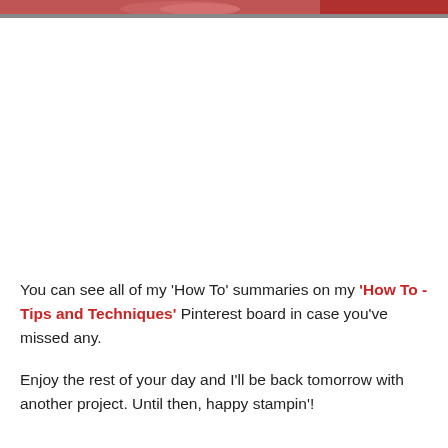[Figure (photo): Partial view of a craft/stamping project image at the top of the page, showing red and pink decorative elements]
You can see all of my 'How To' summaries on my 'How To - Tips and Techniques' Pinterest board in case you've missed any.
Enjoy the rest of your day and I'll be back tomorrow with another project. Until then, happy stampin'!